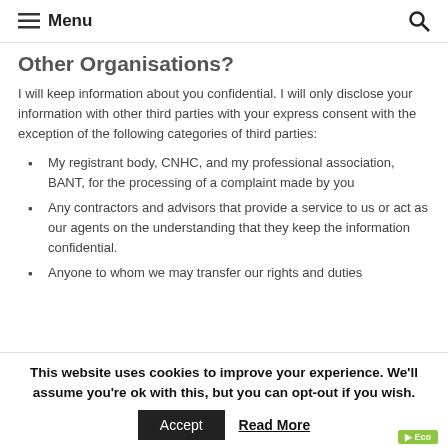Menu
Other Organisations?
I will keep information about you confidential. I will only disclose your information with other third parties with your express consent with the exception of the following categories of third parties:
My registrant body, CNHC, and my professional association, BANT, for the processing of a complaint made by you
Any contractors and advisors that provide a service to us or act as our agents on the understanding that they keep the information confidential.
Anyone to whom we may transfer our rights and duties
This website uses cookies to improve your experience. We'll assume you're ok with this, but you can opt-out if you wish.